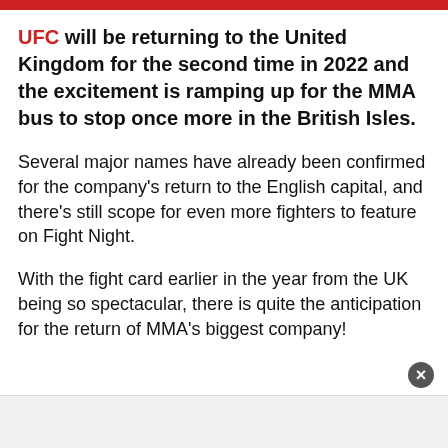UFC will be returning to the United Kingdom for the second time in 2022 and the excitement is ramping up for the MMA bus to stop once more in the British Isles.
Several major names have already been confirmed for the company's return to the English capital, and there's still scope for even more fighters to feature on Fight Night.
With the fight card earlier in the year from the UK being so spectacular, there is quite the anticipation for the return of MMA's biggest company!